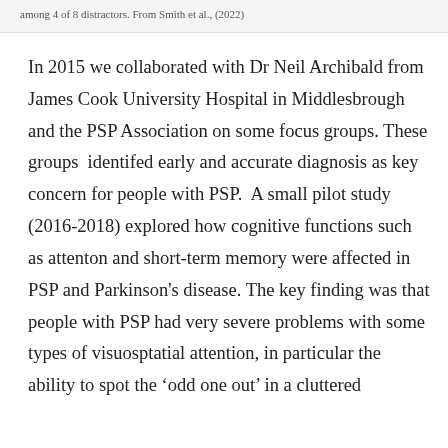among 4 of 8 distractors. From Smith et al., (2022)
In 2015 we collaborated with Dr Neil Archibald from James Cook University Hospital in Middlesbrough and the PSP Association on some focus groups. These groups  identifed early and accurate diagnosis as key concern for people with PSP.  A small pilot study (2016-2018) explored how cognitive functions such as attenton and short-term memory were affected in PSP and Parkinson's disease. The key finding was that people with PSP had very severe problems with some types of visuosptatial attention, in particular the ability to spot the 'odd one out' in a cluttered